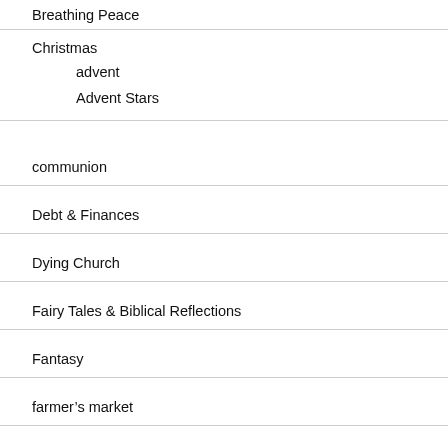Breathing Peace
Christmas
advent
Advent Stars
communion
Debt & Finances
Dying Church
Fairy Tales & Biblical Reflections
Fantasy
farmer's market
From Lament to Hope
Gathering and Gospelling